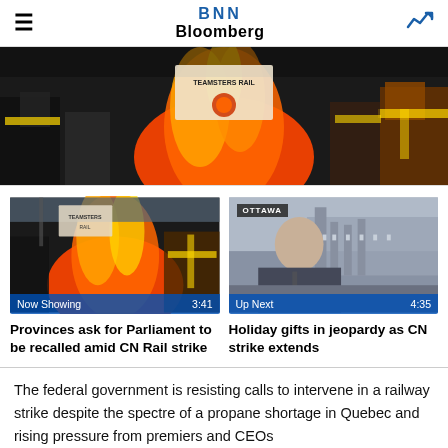BNN Bloomberg
[Figure (photo): Striking railway workers holding Teamsters Rail signs near a fire, wearing hi-vis vests]
[Figure (photo): Now Showing video thumbnail: CN Rail strike protest scene with fire, duration 3:41. Title: Provinces ask for Parliament to be recalled amid CN Rail strike]
[Figure (photo): Up Next video thumbnail: News anchor in Ottawa with parliament building background, duration 4:35. Title: Holiday gifts in jeopardy as CN strike extends]
Provinces ask for Parliament to be recalled amid CN Rail strike
Holiday gifts in jeopardy as CN strike extends
The federal government is resisting calls to intervene in a railway strike despite the spectre of a propane shortage in Quebec and rising pressure from premiers and CEOs